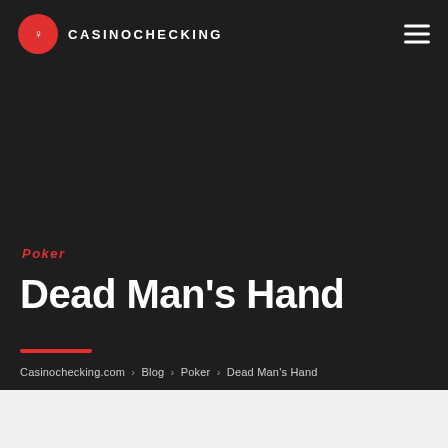CASINOCHECKING
Poker
Dead Man's Hand
Casinochecking.com › Blog › Poker › Dead Man's Hand